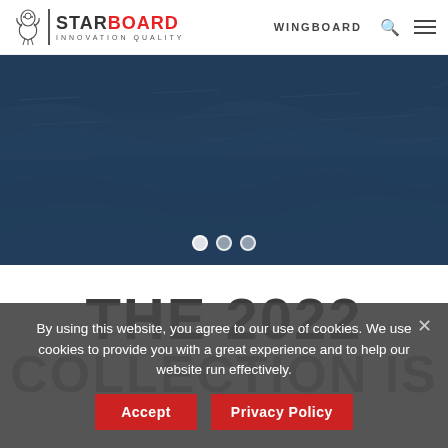Starboard Innovation Quality | WINGBOARD
[Figure (photo): Dark blue ocean water with waves, used as a hero/banner image]
THE 2022 COLLECTION IS HERE
By using this website, you agree to our use of cookies. We use cookies to provide you with a great experience and to help our website run effectively.
Accept | Privacy Policy